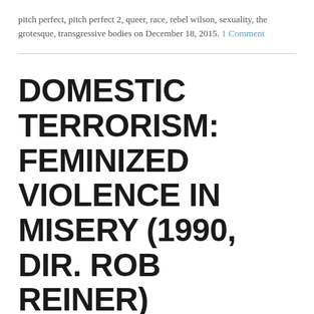pitch perfect, pitch perfect 2, queer, race, rebel wilson, sexuality, the grotesque, transgressive bodies on December 18, 2015. 1 Comment
DOMESTIC TERRORISM: FEMINIZED VIOLENCE IN MISERY (1990, DIR. ROB REINER)
BitchFlicks' theme week for October 2015 is Violent Women, including an article I wrote on Misery, which features Kathy Bates' breakout role as deranged nurse Annie Wilkes.  I'm happy to say that this is my third time being part of one of BitchFlicks' theme weeks, and the subject is a complicated and fascinating one.  It probably goes without